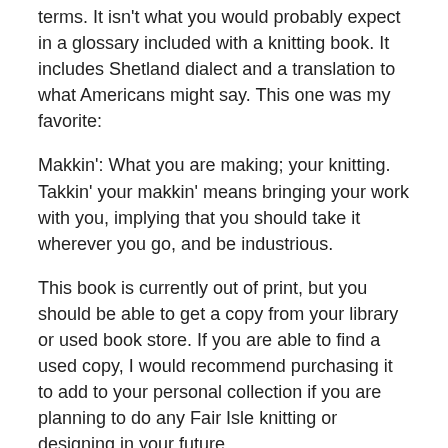terms.  It isn't what you would probably expect in a glossary included with a knitting book.  It includes Shetland dialect and a translation to what Americans might say. This one was my favorite:
Makkin': What you are making; your knitting.  Takkin' your makkin' means bringing your work with you, implying that you should take it wherever you go, and be industrious.
This book is currently out of print, but you should be able to get a copy from your library or used book store.  If you are able to find a used copy, I would recommend purchasing it to add to your personal collection if you are planning to do any Fair Isle knitting or designing in your future.
Share this: